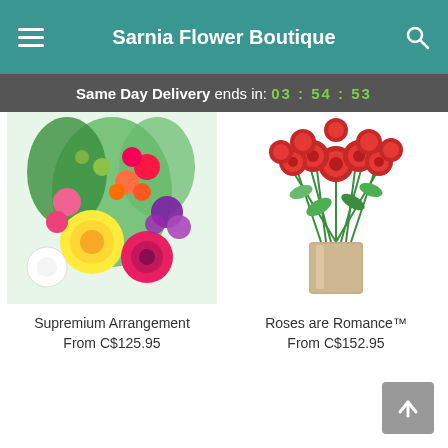Sarnia Flower Boutique
Same Day Delivery ends in: 03 : 54 : 53
[Figure (photo): Colorful mixed flower arrangement with yellow chrysanthemums, pink gerberas, purple flowers, white flowers, and orange blooms.]
Supremium Arrangement
From C$125.95
[Figure (photo): Red roses in a clear glass vase with green foliage.]
Roses are Romance™
From C$152.95